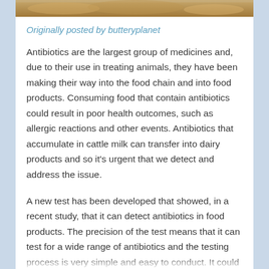[Figure (photo): Partial image of food items (appears to be bread or dairy products) visible at the top of the page as a cropped strip]
Originally posted by butteryplanet
Antibiotics are the largest group of medicines and, due to their use in treating animals, they have been making their way into the food chain and into food products. Consuming food that contain antibiotics could result in poor health outcomes, such as allergic reactions and other events. Antibiotics that accumulate in cattle milk can transfer into dairy products and so it's urgent that we detect and address the issue.
A new test has been developed that showed, in a recent study, that it can detect antibiotics in food products. The precision of the test means that it can test for a wide range of antibiotics and the testing process is very simple and easy to conduct. It could also detect antibiotics at all